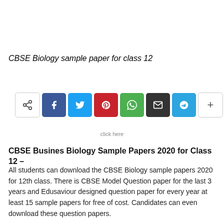CBSE Biology sample paper for class 12
[Figure (other): Social media share button bar with icons for Share, Facebook, Twitter, Pinterest, WhatsApp, Email, Telegram, and More (+)]
click here
CBSE Busines Biology Sample Papers 2020 for Class 12 –
All students can download the CBSE Biology sample papers 2020 for 12th class. There is CBSE Model Question paper for the last 3 years and Edusaviour designed question paper for every year at least 15 sample papers for free of cost. Candidates can even download these question papers.